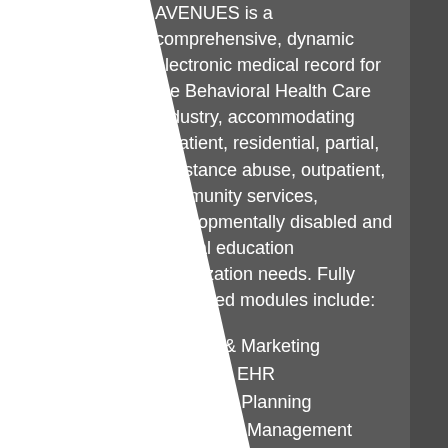AVENUES is a comprehensive, dynamic electronic medical record for the Behavioral Health Care Industry, accommodating inpatient, residential, partial, substance abuse, outpatient, community services, developmentally disabled and special education organization needs. Fully integrated modules include:
Referral & Marketing
Complete EHR
Treatment Planning
Medication Management
Resource Management
Scheduling
Outcomes Measurement
School Management, IEP and Gradebook
Incident Management
Billing and Accounts